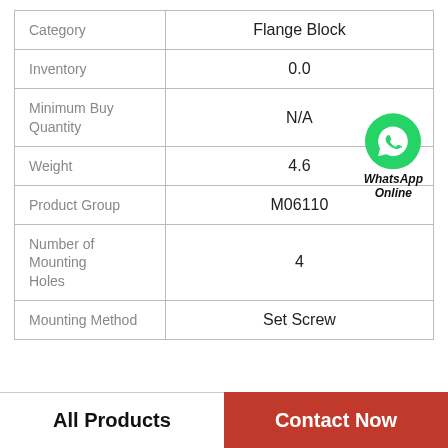|  |  |
| --- | --- |
| Category | Flange Block |
| Inventory | 0.0 |
| Minimum Buy Quantity | N/A |
| Weight | 4.6 |
| Product Group | M06110 |
| Number of Mounting Holes | 4 |
| Mounting Method | Set Screw |
All Products
Contact Now